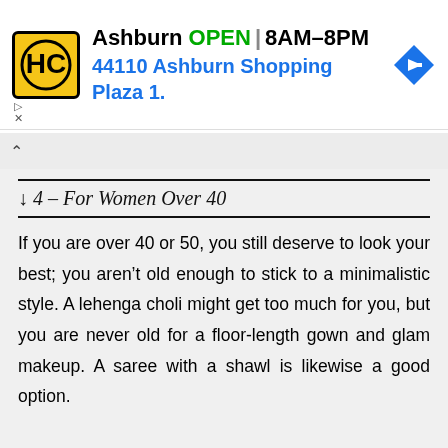[Figure (screenshot): Ad banner for HC store in Ashburn showing logo, OPEN status, hours 8AM-8PM, address 44110 Ashburn Shopping Plaza 1., and a navigation arrow icon]
↓ 4 – For Women Over 40
If you are over 40 or 50, you still deserve to look your best; you aren't old enough to stick to a minimalistic style. A lehenga choli might get too much for you, but you are never old for a floor-length gown and glam makeup. A saree with a shawl is likewise a good option.